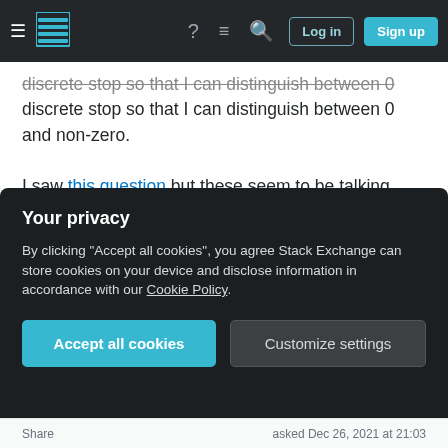Stack Exchange navigation bar with hamburger menu, logo, help, chat, search icons, Log in and Sign up buttons
discrete stop so that I can distinguish between 0 and non-zero.

I saw this question but these seem to be talking about a different type of data set (maybe where each position has a count attached to it?) whereas in my case I just have GPS position reports which could be very close but not identical (for instance, two positions 1m apart would count close to being the same since they are within 10m). Also, the data set grows over time so setting the gradient stop to a fixed percent (which won't work anyway since I can't
Your privacy
By clicking "Accept all cookies", you agree Stack Exchange can store cookies on your device and disclose information in accordance with our Cookie Policy.
Accept all cookies
Customize settings
Share  asked Dec 26, 2021 at 21:03